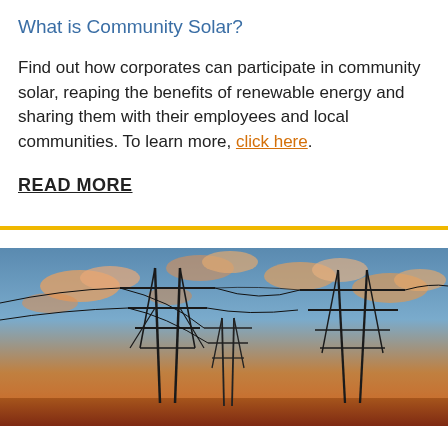What is Community Solar?
Find out how corporates can participate in community solar, reaping the benefits of renewable energy and sharing them with their employees and local communities. To learn more, click here.
READ MORE
[Figure (photo): Photograph of electrical power transmission towers/pylons silhouetted against a dramatic sunset sky with orange clouds and blue sky.]